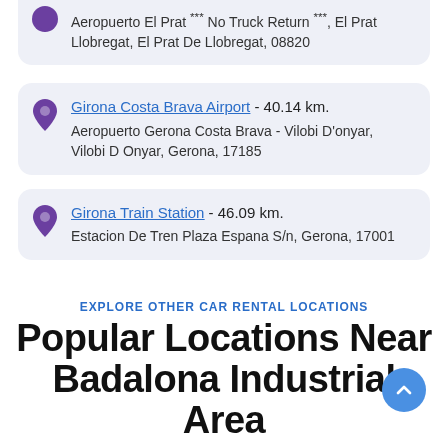Aeropuerto El Prat *** No Truck Return ***, El Prat Llobregat, El Prat De Llobregat, 08820
Girona Costa Brava Airport - 40.14 km. Aeropuerto Gerona Costa Brava - Vilobi D'onyar, Vilobi D Onyar, Gerona, 17185
Girona Train Station - 46.09 km. Estacion De Tren Plaza Espana S/n, Gerona, 17001
EXPLORE OTHER CAR RENTAL LOCATIONS
Popular Locations Near Badalona Industrial Area